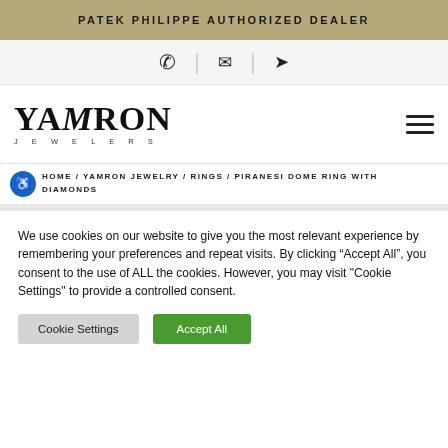PATEK PHILIPPE AUTHORIZED DEALER
[Figure (other): Icon bar with phone, email, and location icons separated by vertical dividers]
[Figure (logo): Yamron Jewelers logo — stylized serif wordmark with JEWELERS spaced below, and hamburger menu icon on the right]
HOME / YAMRON JEWELRY / RINGS / PIRANESI DOME RING WITH DIAMONDS
We use cookies on our website to give you the most relevant experience by remembering your preferences and repeat visits. By clicking "Accept All", you consent to the use of ALL the cookies. However, you may visit "Cookie Settings" to provide a controlled consent.